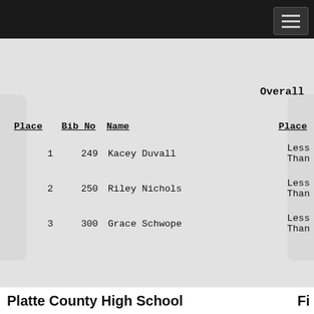Overall
| Place | Bib No | Name | Overall Place |
| --- | --- | --- | --- |
| 1 | 249 | Kacey Duvall | Less Than |
| 2 | 250 | Riley Nichols | Less Than |
| 3 | 300 | Grace Schwope | Less Than |
Platte County High School   Fi